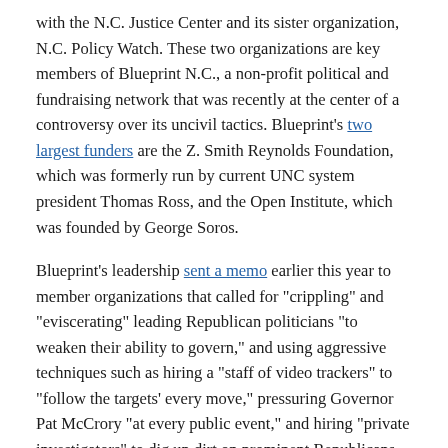with the N.C. Justice Center and its sister organization, N.C. Policy Watch. These two organizations are key members of Blueprint N.C., a non-profit political and fundraising network that was recently at the center of a controversy over its uncivil tactics. Blueprint's two largest funders are the Z. Smith Reynolds Foundation, which was formerly run by current UNC system president Thomas Ross, and the Open Institute, which was founded by George Soros.
Blueprint's leadership sent a memo earlier this year to member organizations that called for "crippling" and "eviscerating" leading Republican politicians "to weaken their ability to govern," and using aggressive techniques such as hiring a "staff of video trackers" to "follow the targets' every move," pressuring Governor Pat McCrory "at every public event," and hiring "private investigators" to dig up dirt on prominent Republicans.
Should an organization that is largely composed of UNC professors be involved with participants in such a vicious political smear campaign as the one suggested by Blueprint N.C.? Perhaps it is within their legal rights, but the title "scholar" implies a